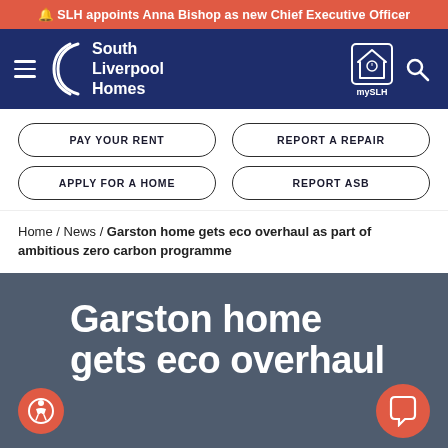🔔 SLH appoints Anna Bishop as new Chief Executive Officer
[Figure (logo): South Liverpool Homes logo with bracket icon, hamburger menu, mySLH icon and search icon on dark navy navigation bar]
PAY YOUR RENT
REPORT A REPAIR
APPLY FOR A HOME
REPORT ASB
Home / News / Garston home gets eco overhaul as part of ambitious zero carbon programme
Garston home gets eco overhaul